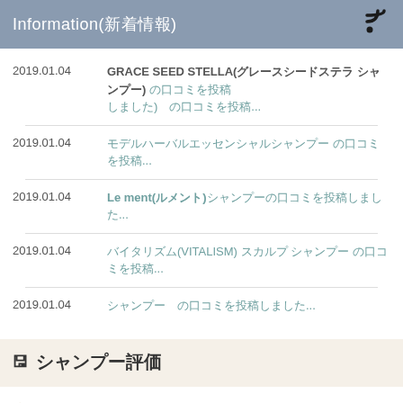Information(新着情報)
2019.01.04  GRACE SEED STELLA(グレースシードステラ シャンプー) の口コミを投稿...
2019.01.04  モデルハーバルエッセンシャルシャンプー の口コミを投稿...
2019.01.04  Le ment(ルメント)シャンプーの口コミを投稿しました...
2019.01.04  バイタリズム(VITALISM) スカルプ シャンプー の口コミを投稿...
2019.01.04  シャンプー　の口コミを投稿しました...
シャンプー評価
ランキングを見る